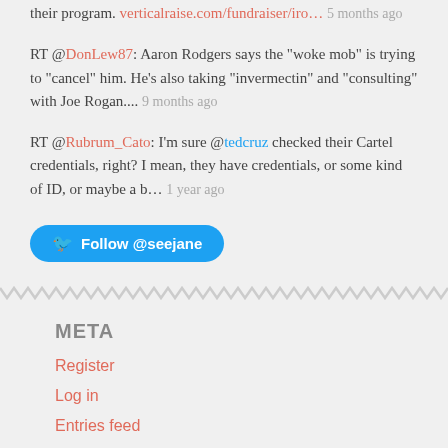their program. verticalraise.com/fundraiser/iro… 5 months ago
RT @DonLew87: Aaron Rodgers says the "woke mob" is trying to "cancel" him. He's also taking "invermectin" and "consulting" with Joe Rogan.... 9 months ago
RT @Rubrum_Cato: I'm sure @tedcruz checked their Cartel credentials, right? I mean, they have credentials, or some kind of ID, or maybe a b... 1 year ago
[Figure (other): Follow @seejane Twitter button (blue rounded pill button with Twitter bird icon)]
[Figure (other): Zigzag/wavy decorative divider line]
META
Register
Log in
Entries feed
Comments feed